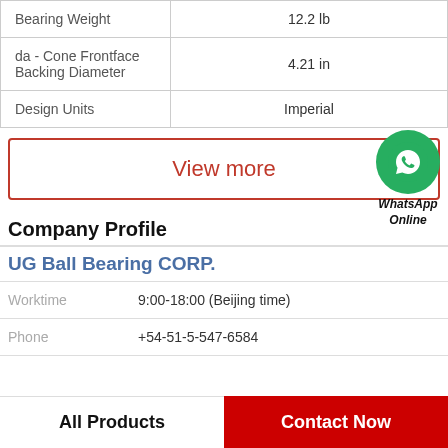| Property | Value |
| --- | --- |
| Bearing Weight | 12.2 lb |
| da - Cone Frontface Backing Diameter | 4.21 in |
| Design Units | Imperial |
View more
[Figure (logo): WhatsApp green circle icon with phone handset, labeled WhatsApp Online]
Company Profile
UG Ball Bearing CORP.
Worktime: 9:00-18:00 (Beijing time)
Phone: +54-51-5-547-6584
All Products | Contact Now